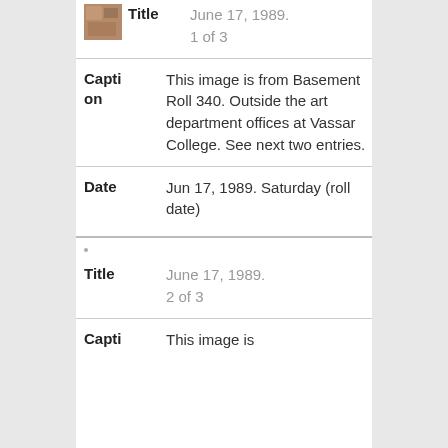[Figure (photo): Small thumbnail image, brownish tones, appears to be an indoor/outdoor scene]
June 17, 1989. 1 of 3
This image is from Basement Roll 340. Outside the art department offices at Vassar College. See next two entries.
Date: Jun 17, 1989. Saturday (roll date)
June 17, 1989. 2 of 3
This image is from Basement